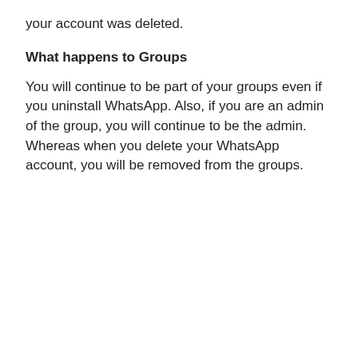your account was deleted.
What happens to Groups
You will continue to be part of your groups even if you uninstall WhatsApp. Also, if you are an admin of the group, you will continue to be the admin. Whereas when you delete your WhatsApp account, you will be removed from the groups.